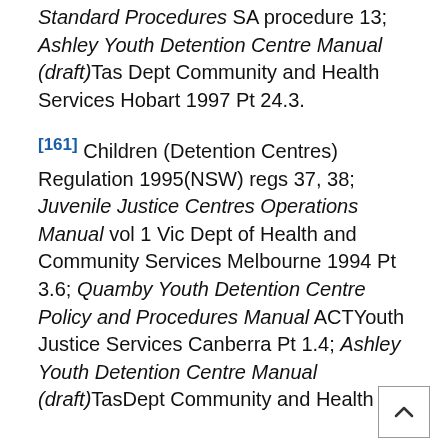Standard Procedures SA procedure 13; Ashley Youth Detention Centre Manual (draft)Tas Dept Community and Health Services Hobart 1997 Pt 24.3.
[161] Children (Detention Centres) Regulation 1995(NSW) regs 37, 38; Juvenile Justice Centres Operations Manual vol 1 Vic Dept of Health and Community Services Melbourne 1994 Pt 3.6; Quamby Youth Detention Centre Policy and Procedures Manual ACTYouth Justice Services Canberra Pt 1.4; Ashley Youth Detention Centre Manual (draft)TasDept Community and Health